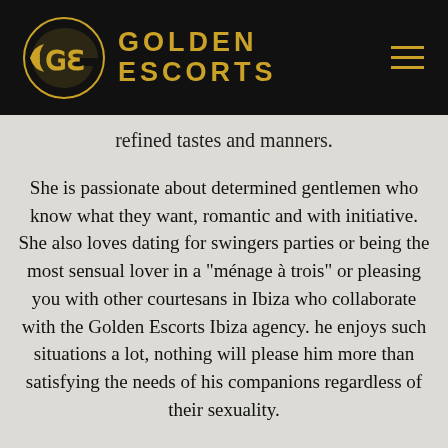GOLDEN ESCORTS
refined tastes and manners.
She is passionate about determined gentlemen who know what they want, romantic and with initiative. She also loves dating for swingers parties or being the most sensual lover in a "ménage à trois" or pleasing you with other courtesans in Ibiza who collaborate with the Golden Escorts Ibiza agency. he enjoys such situations a lot, nothing will please him more than satisfying the needs of his companions regardless of their sexuality.
No more company problems, since the beautiful lady we are happy to introduce you, she is the ideal girl to meet all her requirements. You are observing a